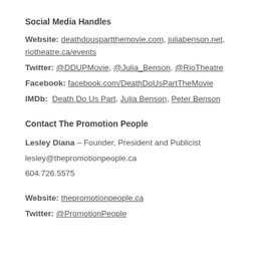Social Media Handles
Website: deathdouspartthemovie.com, juliabenson.net, riotheatre.ca/events
Twitter: @DDUPMovie, @Julia_Benson, @RioTheatre
Facebook: facebook.com/DeathDoUsPartTheMovie
IMDb: Death Do Us Part, Julia Benson, Peter Benson
Contact The Promotion People
Lesley Diana – Founder, President and Publicist
lesley@thepromotionpeople.ca
604.726.5575
Website: thepromotionpeople.ca
Twitter: @PromotionPeople